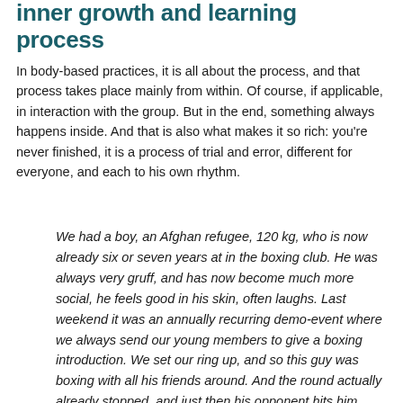inner growth and learning process
In body-based practices, it is all about the process, and that process takes place mainly from within. Of course, if applicable, in interaction with the group. But in the end, something always happens inside. And that is also what makes it so rich: you're never finished, it is a process of trial and error, different for everyone, and each to his own rhythm.
We had a boy, an Afghan refugee, 120 kg, who is now already six or seven years at in the boxing club. He was always very gruff, and has now become much more social, he feels good in his skin, often laughs. Last weekend it was an annually recurring demo-event where we always send our young members to give a boxing introduction. We set our ring up, and so this guy was boxing with all his friends around. And the round actually already stopped, and just then his opponent hits him again. And our guy, he just took off his boxing